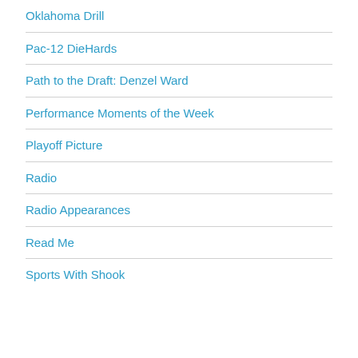Oklahoma Drill
Pac-12 DieHards
Path to the Draft: Denzel Ward
Performance Moments of the Week
Playoff Picture
Radio
Radio Appearances
Read Me
Sports With Shook